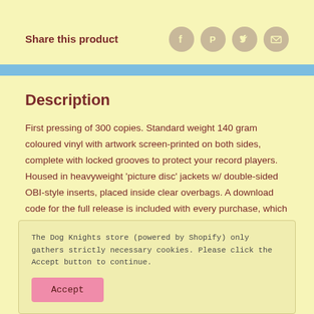Share this product
[Figure (other): Social share icons: Facebook, Pinterest, Twitter, Email]
Description
First pressing of 300 copies. Standard weight 140 gram coloured vinyl with artwork screen-printed on both sides, complete with locked grooves to protect your record players. Housed in heavyweight 'picture disc' jackets w/ double-sided OBI-style inserts, placed inside clear overbags. A download code for the full release is included with every purchase, which can be redeemed from the dispatch confirmation email
The Dog Knights store (powered by Shopify) only gathers strictly necessary cookies. Please click the Accept button to continue.
Accept